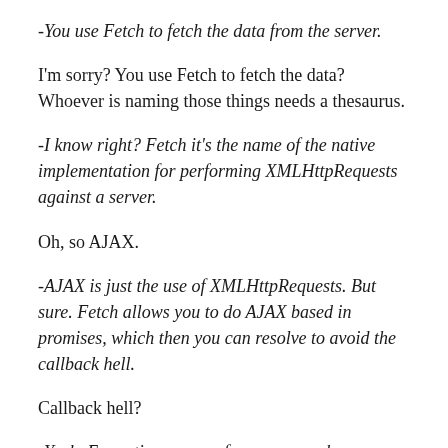-You use Fetch to fetch the data from the server.
I'm sorry? You use Fetch to fetch the data? Whoever is naming those things needs a thesaurus.
-I know right? Fetch it's the name of the native implementation for performing XMLHttpRequests against a server.
Oh, so AJAX.
-AJAX is just the use of XMLHttpRequests. But sure. Fetch allows you to do AJAX based in promises, which then you can resolve to avoid the callback hell.
Callback hell?
-Yeah. Every time you perform an asynchronous request against the server, you need to wait for its response